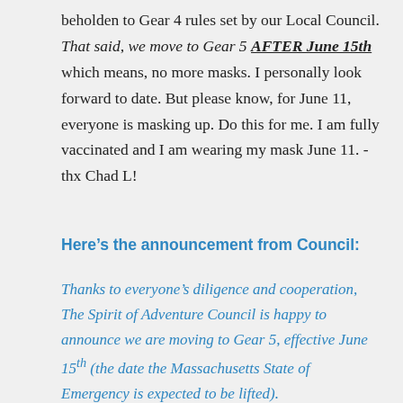beholden to Gear 4 rules set by our Local Council. That said, we move to Gear 5 AFTER June 15th which means, no more masks. I personally look forward to date. But please know, for June 11, everyone is masking up. Do this for me. I am fully vaccinated and I am wearing my mask June 11. -thx Chad L!
Here’s the announcement from Council:
Thanks to everyone’s diligence and cooperation, The Spirit of Adventure Council is happy to announce we are moving to Gear 5, effective June 15th (the date the Massachusetts State of Emergency is expected to be lifted).